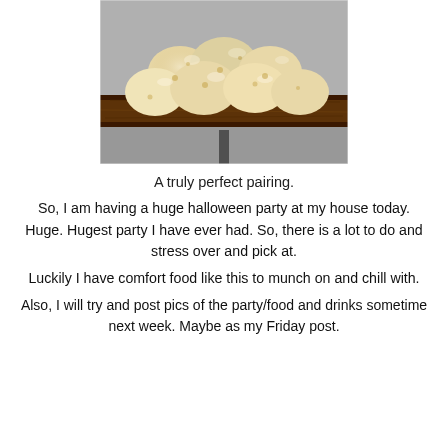[Figure (photo): Photo of bread rolls or dumplings arranged on a dark wooden cutting board, placed on a gray surface with a dark vertical rod/handle visible below]
A truly perfect pairing.
So, I am having a huge halloween party at my house today. Huge. Hugest party I have ever had. So, there is a lot to do and stress over and pick at.
Luckily I have comfort food like this to munch on and chill with.
Also, I will try and post pics of the party/food and drinks sometime next week. Maybe as my Friday post.